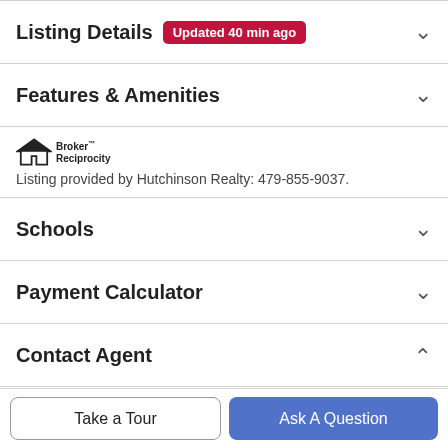Listing Details Updated 40 min ago
Features & Amenities
[Figure (logo): Broker Reciprocity logo with house icon and text]
Listing provided by Hutchinson Realty: 479-855-9037.
Schools
Payment Calculator
Contact Agent
Take a Tour
Ask A Question